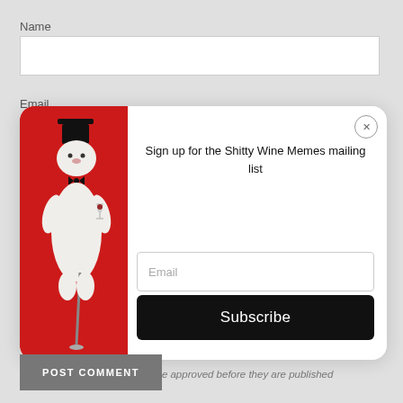Name
[Figure (screenshot): Empty text input field for Name]
Email
[Figure (screenshot): Modal popup with a white Pomeranian dog wearing a top hat and bow tie on a red background, with 'Sign up for the Shitty Wine Memes mailing list' text, an email input field, and a Subscribe button]
Please note, comments must be approved before they are published
POST COMMENT